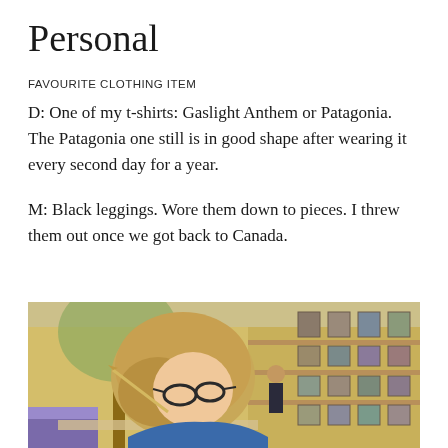Personal
FAVOURITE CLOTHING ITEM
D: One of my t-shirts: Gaslight Anthem or Patagonia. The Patagonia one still is in good shape after wearing it every second day for a year.
M: Black leggings. Wore them down to pieces. I threw them out once we got back to Canada.
[Figure (photo): Photo of a woman with glasses and blonde hair leaning over a surface in a colorful art studio or gallery room. In the background, two people are visible near shelves and walls covered with framed artwork. Yellow walls with painted murals.]